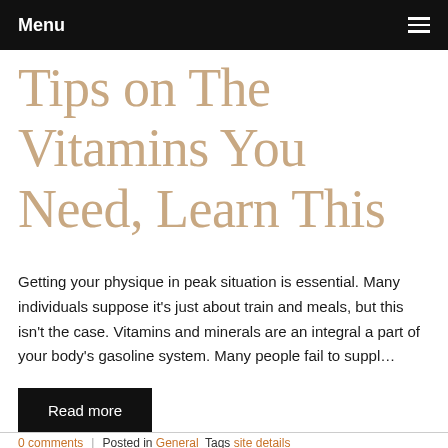Menu
Tips on The Vitamins You Need, Learn This
Getting your physique in peak situation is essential. Many individuals suppose it's just about train and meals, but this isn't the case. Vitamins and minerals are an integral a part of your body's gasoline system. Many people fail to suppl…
Read more
0 comments | Posted in General Tags site details